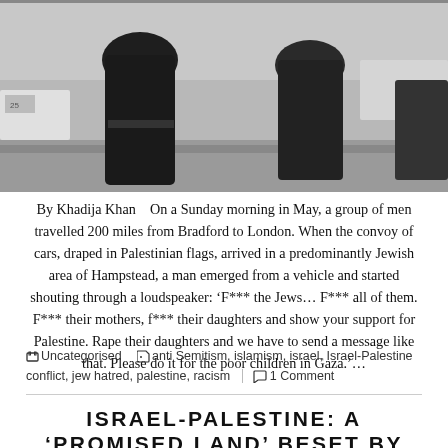[Figure (photo): Black and white photograph of men in dark coats, partially cropped, with cars in the background on a street.]
By Khadija Khan   On a Sunday morning in May, a group of men travelled 200 miles from Bradford to London. When the convoy of cars, draped in Palestinian flags, arrived in a predominantly Jewish area of Hampstead, a man emerged from a vehicle and started shouting through a loudspeaker: ‘F*** the Jews… F*** all of them. F*** their mothers, f*** their daughters and show your support for Palestine. Rape their daughters and we have to send a message like that. Please do it for the poor children in Gaza.’…
Uncategorised   anti Semitism, islamism, israel, Israel-Palestine conflict, jew hatred, palestine, racism   1 Comment
ISRAEL-PALESTINE: A ‘PROMISED LAND’ BESET BY